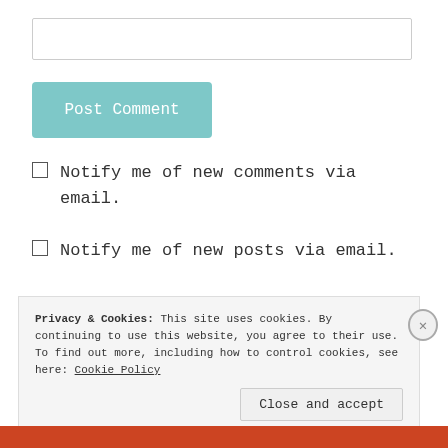[Figure (screenshot): Empty text input field with light gray border]
Post Comment
Notify me of new comments via email.
Notify me of new posts via email.
Privacy & Cookies: This site uses cookies. By continuing to use this website, you agree to their use. To find out more, including how to control cookies, see here: Cookie Policy
Close and accept